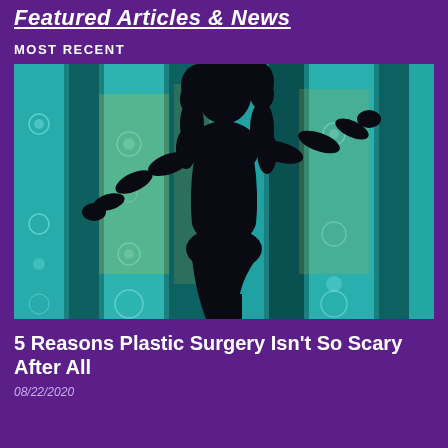Featured Articles & News
MOST RECENT
[Figure (photo): Silhouette of a woman with curly hair standing in front of backlit decorative curtains, posed with arms outstretched holding the curtains open]
5 Reasons Plastic Surgery Isn't So Scary After All
08/22/2020